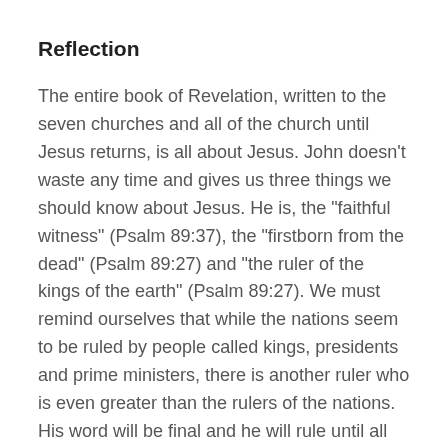Reflection
The entire book of Revelation, written to the seven churches and all of the church until Jesus returns, is all about Jesus. John doesn’t waste any time and gives us three things we should know about Jesus. He is, the “faithful witness” (Psalm 89:37), the “firstborn from the dead” (Psalm 89:27) and “the ruler of the kings of the earth” (Psalm 89:27). We must remind ourselves that while the nations seem to be ruled by people called kings, presidents and prime ministers, there is another ruler who is even greater than the rulers of the nations. His word will be final and he will rule until all things are submitted to him. Find your